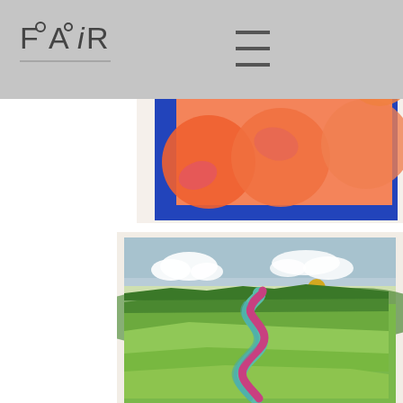FAIR logo and navigation header
[Figure (illustration): Abstract artwork with blue border containing orange/pink circular shapes on blue background, partially visible at top right]
[Figure (illustration): Watercolor landscape painting showing green rolling hills with a winding pink/magenta river or road snaking through the scene, blue sky with white clouds and a golden sun]